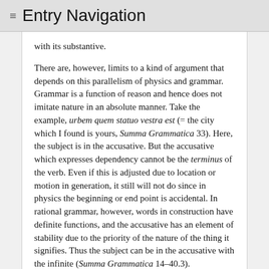≡ Entry Navigation
with its substantive.
There are, however, limits to a kind of argument that depends on this parallelism of physics and grammar. Grammar is a function of reason and hence does not imitate nature in an absolute manner. Take the example, urbem quem statuo vestra est (= the city which I found is yours, Summa Grammatica 33). Here, the subject is in the accusative. But the accusative which expresses dependency cannot be the terminus of the verb. Even if this is adjusted due to location or motion in generation, it still will not do since in physics the beginning or end point is accidental. In rational grammar, however, words in construction have definite functions, and the accusative has an element of stability due to the priority of the nature of the thing it signifies. Thus the subject can be in the accusative with the infinite (Summa Grammatica 14–40.3).
Grammatical reasoning, then, finds itself wedged between physical and logical reasoning. This can be seen in the